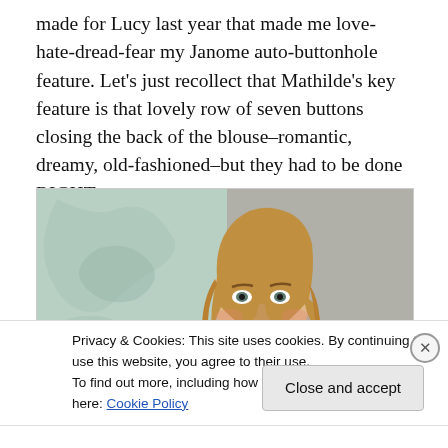made for Lucy last year that made me love-hate-dread-fear my Janome auto-buttonhole feature. Let's just recollect that Mathilde's key feature is that lovely row of seven buttons closing the back of the blouse–romantic, dreamy, old-fashioned–but they had to be done RIGHT.
[Figure (photo): Young woman with long blonde hair and red lipstick, standing in front of a green map, wearing a patterned top.]
Privacy & Cookies: This site uses cookies. By continuing to use this website, you agree to their use.
To find out more, including how to control cookies, see here: Cookie Policy
Close and accept